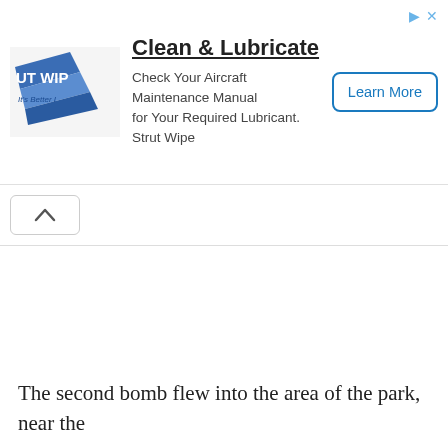[Figure (other): Advertisement banner for Strut Wipe product showing logo, 'Clean & Lubricate' headline, subtitle text, and 'Learn More' button]
The second bomb flew into the area of the park, near the